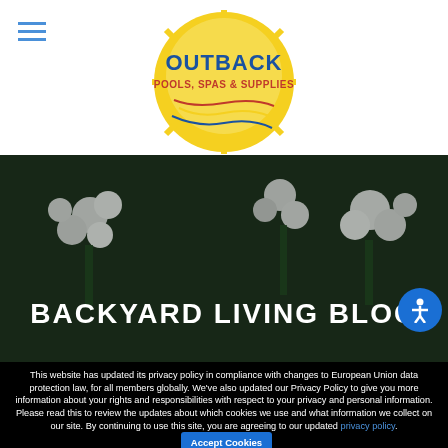[Figure (logo): Outback Pools, Spas & Supplies circular logo with sun graphic and blue/red text]
[Figure (photo): Dark hero banner with white flowering plants in background, overlay text reading BACKYARD LIVING BLOG]
BACKYARD LIVING BLOG
This website has updated its privacy policy in compliance with changes to European Union data protection law, for all members globally. We've also updated our Privacy Policy to give you more information about your rights and responsibilities with respect to your privacy and personal information. Please read this to review the updates about which cookies we use and what information we collect on our site. By continuing to use this site, you are agreeing to our updated privacy policy.